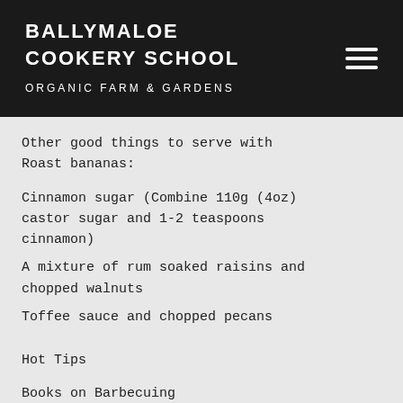BALLYMALOE COOKERY SCHOOL ORGANIC FARM & GARDENS
Other good things to serve with Roast bananas:
Cinnamon sugar (Combine 110g (4oz) castor sugar and 1-2 teaspoons cinnamon)
A mixture of rum soaked raisins and chopped walnuts
Toffee sauce and chopped pecans
Hot Tips
Books on Barbecuing